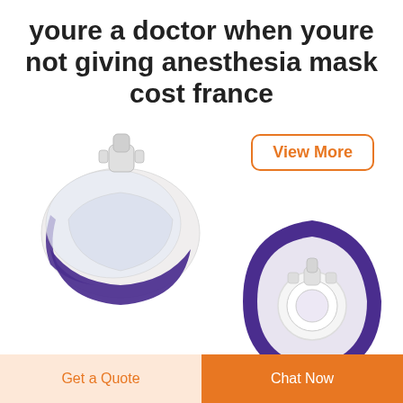youre a doctor when youre not giving anesthesia mask cost france
[Figure (photo): Anesthesia mask side view with purple rim and clear body, connector port on top]
[Figure (photo): Anesthesia mask bottom view with purple rim and clear body, connector port in center]
View More
View More
Get a Quote
Chat Now